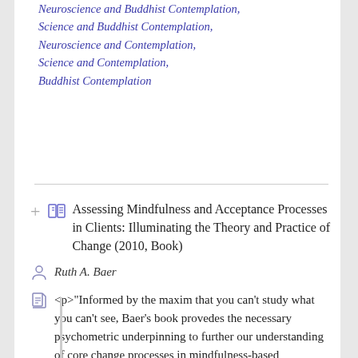Neuroscience and Buddhist Contemplation, Science and Buddhist Contemplation, Neuroscience and Contemplation, Science and Contemplation, Buddhist Contemplation
Assessing Mindfulness and Acceptance Processes in Clients: Illuminating the Theory and Practice of Change (2010, Book)
Ruth A. Baer
<p>"Informed by the maxim that you can't study what you can't see, Baer's book provedes the necessary psychometric underpinning to further our understanding of core change processes in mindfulness-based interventions."---Zindel V.